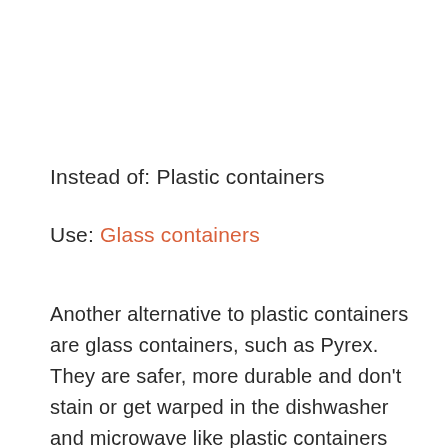Instead of: Plastic containers
Use: Glass containers
Another alternative to plastic containers are glass containers, such as Pyrex. They are safer, more durable and don't stain or get warped in the dishwasher and microwave like plastic containers do. When their long lifespan has expired, they are easily recycled. I love these ones with bamboo lids.